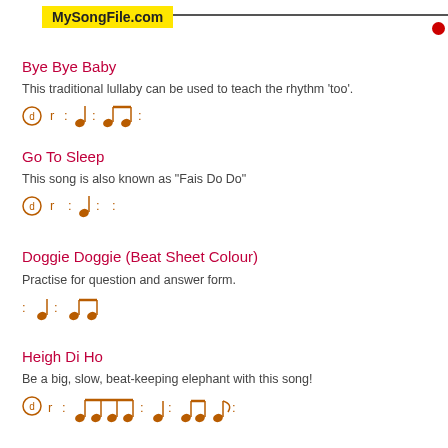MySongFile.com
Bye Bye Baby
This traditional lullaby can be used to teach the rhythm 'too'.
[Figure (illustration): Music rhythm notation row: d-circle, r, colon, quarter note, colon, beamed eighth notes, colon]
Go To Sleep
This song is also known as "Fais Do Do"
[Figure (illustration): Music rhythm notation row: d-circle, r, colon, quarter note, colon, colon]
Doggie Doggie (Beat Sheet Colour)
Practise for question and answer form.
[Figure (illustration): Music rhythm notation row: colon, quarter note, colon, beamed eighth notes]
Heigh Di Ho
Be a big, slow, beat-keeping elephant with this song!
[Figure (illustration): Music rhythm notation row: d-circle, r, colon, beamed four eighth notes with beam, colon, quarter note, colon, beamed eighth notes with flag, colon]